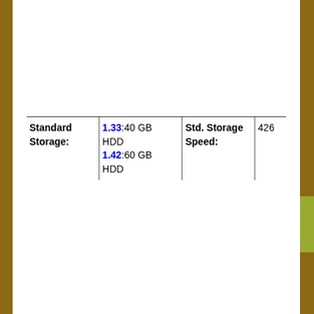| Standard Storage: |  | Std. Storage Speed: |  |
| --- | --- | --- | --- |
|  | 1.33:40 GB HDD
1.42:60 GB HDD |  | 426 |